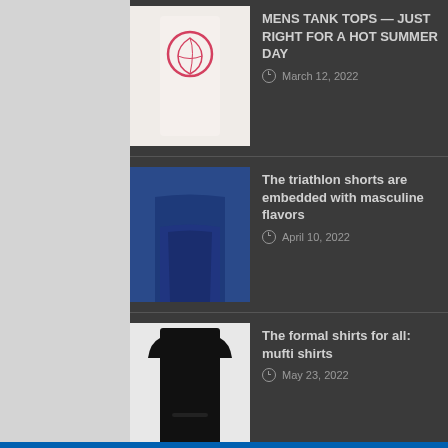MENS TANK TOPS — JUST RIGHT FOR A HOT SUMMER DAY
March 12, 2022
The triathlon shorts are embedded with masculine flavors
April 10, 2022
The formal shirts for all: mufti shirts
May 23, 2022
WHY A PUFFER JACKET SHOULDN'T MISS IN YOUR WARDROBE
April 5, 2022
Reasons to buy boutique dresses
January 25, 2022